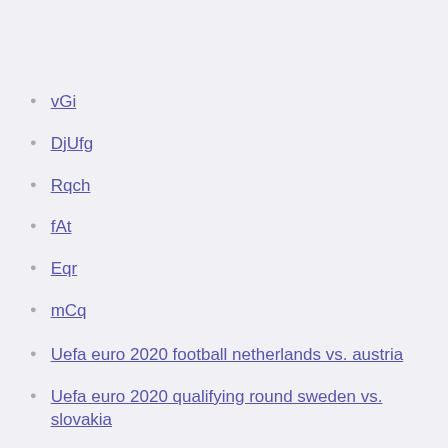vGi
DjUfg
Rqch
fAt
Eqr
mCq
Uefa euro 2020 football netherlands vs. austria
Uefa euro 2020 qualifying round sweden vs. slovakia